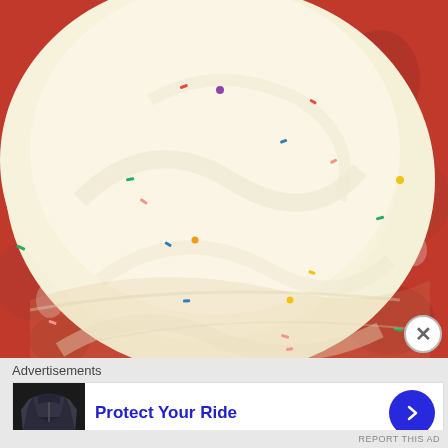[Figure (photo): Close-up photo of a white frosted cake covered in colorful sprinkles (rainbow sprinkles in red, blue, green, yellow, pink colors) sitting on a red floral surface/plate. The cake has textured swirled white frosting.]
Advertisements
[Figure (screenshot): Advertisement banner with an image of a motorcycle jacket on the left, text 'Protect Your Ride' in blue in the center, and a blue circular arrow button on the right.]